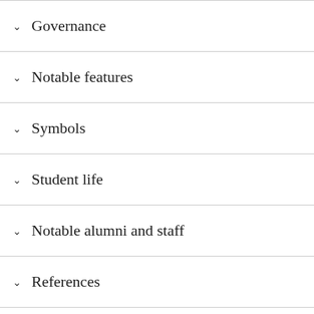Governance
Notable features
Symbols
Student life
Notable alumni and staff
References